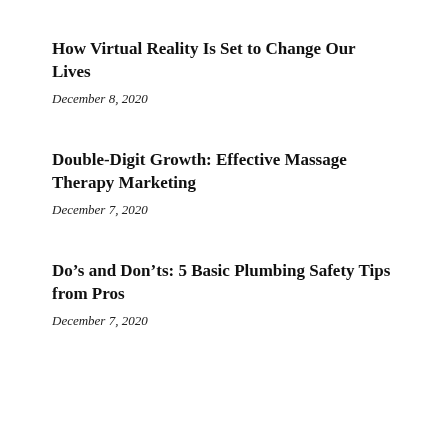How Virtual Reality Is Set to Change Our Lives
December 8, 2020
Double-Digit Growth: Effective Massage Therapy Marketing
December 7, 2020
Do’s and Don’ts: 5 Basic Plumbing Safety Tips from Pros
December 7, 2020